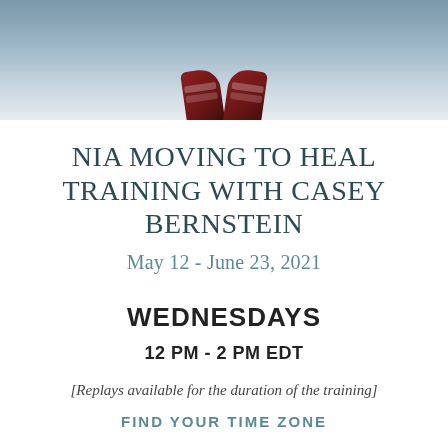[Figure (photo): Photo banner showing two dark red/maroon shoes (sneakers) from below against a bluish-grey sky background]
NIA MOVING TO HEAL TRAINING WITH CASEY BERNSTEIN
May 12 - June 23, 2021
WEDNESDAYS
12 PM - 2 PM EDT
[Replays available for the duration of the training]
FIND YOUR TIME ZONE